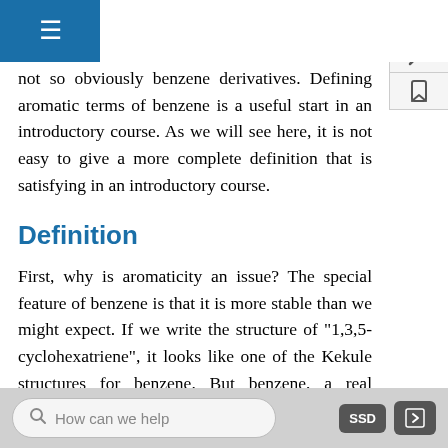organic chemistry you will find a variety compounds called aromatic, even though they are not so obviously benzene derivatives. Defining aromatic terms of benzene is a useful start in an introductory course. As we will see here, it is not easy to give a more complete definition that is satisfying in an introductory course.
Definition
First, why is aromaticity an issue? The special feature of benzene is that it is more stable than we might expect. If we write the structure of "1,3,5-cyclohexatriene", it looks like one of the Kekule structures for benzene. But benzene, a real chemical,